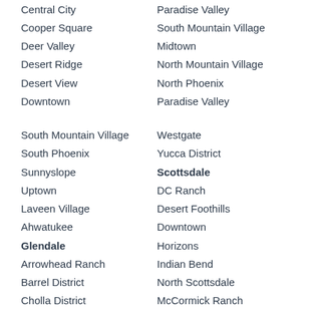Central City
Paradise Valley
Cooper Square
South Mountain Village
Deer Valley
Midtown
Desert Ridge
North Mountain Village
Desert View
North Phoenix
Downtown
Paradise Valley
South Mountain Village
Westgate
South Phoenix
Yucca District
Sunnyslope
Scottsdale
Uptown
DC Ranch
Laveen Village
Desert Foothills
Ahwatukee
Downtown
Glendale
Horizons
Arrowhead Ranch
Indian Bend
Barrel District
North Scottsdale
Cholla District
McCormick Ranch
Ocotillo District
Paradise Valley Village
Sahuaro District
Tempe